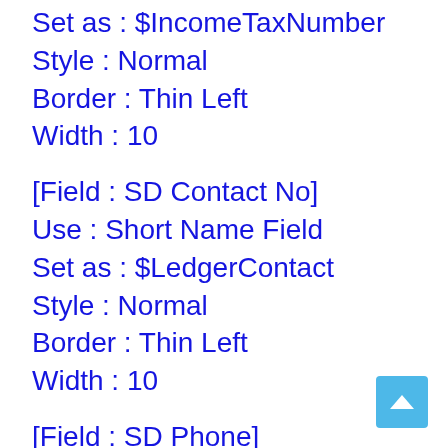Set as : $IncomeTaxNumber
Style : Normal
Border : Thin Left
Width : 10
[Field : SD Contact No]
Use : Short Name Field
Set as : $LedgerContact
Style : Normal
Border : Thin Left
Width : 10
[Field : SD Phone]
Use : Short Name Field